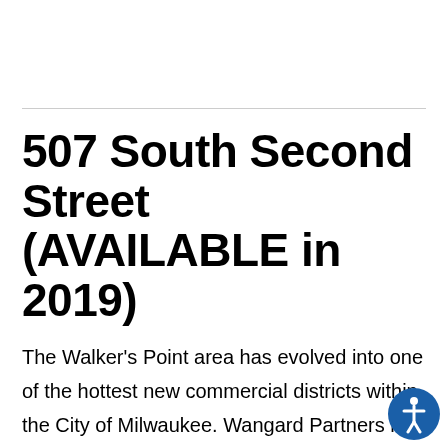507 South Second Street (AVAILABLE in 2019)
The Walker's Point area has evolved into one of the hottest new commercial districts within the City of Milwaukee. Wangard Partners has up to 84,000 SF of available space for lease within the 84,000 SF 507 S.